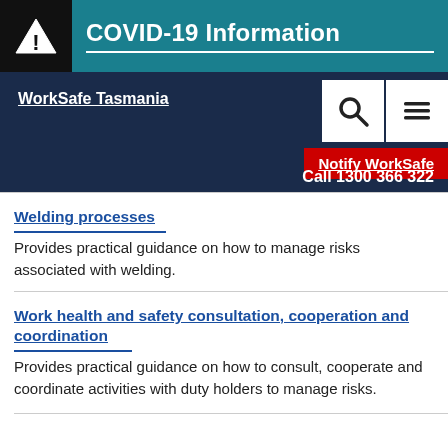COVID-19 Information
WorkSafe Tasmania
Notify WorkSafe
Call 1300 366 322
Welding processes
Provides practical guidance on how to manage risks associated with welding.
Work health and safety consultation, cooperation and coordination
Provides practical guidance on how to consult, cooperate and coordinate activities with duty holders to manage risks.